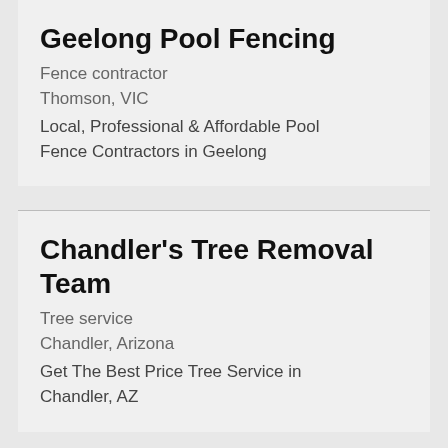Geelong Pool Fencing
Fence contractor
Thomson, VIC
Local, Professional & Affordable Pool Fence Contractors in Geelong
Chandler's Tree Removal Team
Tree service
Chandler, Arizona
Get The Best Price Tree Service in Chandler, AZ
FREMONT LAWN AND